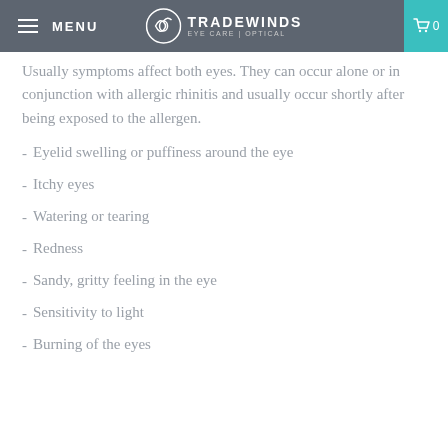MENU | TRADEWINDS EYE CARE | OPTICAL | 0
Usually symptoms affect both eyes. They can occur alone or in conjunction with allergic rhinitis and usually occur shortly after being exposed to the allergen.
Eyelid swelling or puffiness around the eye
Itchy eyes
Watering or tearing
Redness
Sandy, gritty feeling in the eye
Sensitivity to light
Burning of the eyes